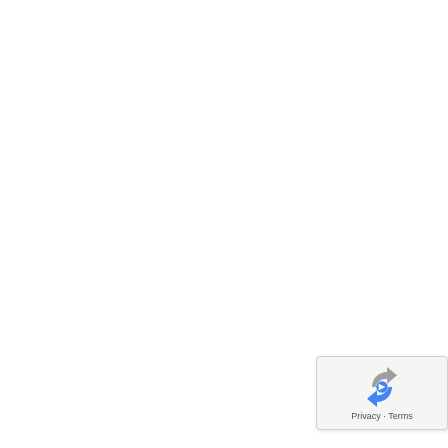uniformed police officersevolv
[Figure (logo): reCAPTCHA widget with circular arrow logo and Privacy · Terms text]